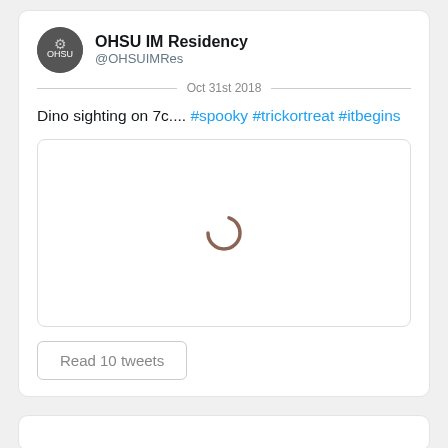OHSU IM Residency
@OHSUIMRes
Oct 31st 2018
Dino sighting on 7c.... #spooky #trickortreat #itbegins
[Figure (screenshot): Media placeholder with loading spinner (C-shaped arc) indicating an image is loading]
Read 10 tweets